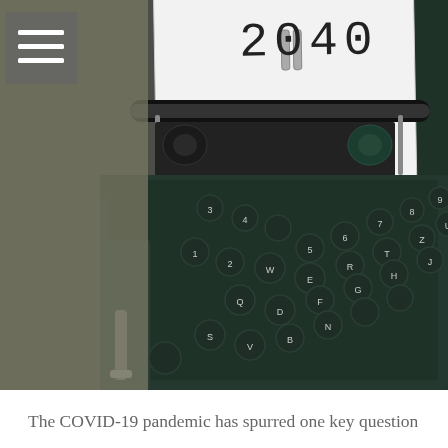[Figure (photo): Close-up photograph of a dark green vintage typewriter with a sheet of paper inserted showing the number '2040'. A hamburger menu icon (three horizontal lines) is overlaid in the upper-left corner of the image.]
The COVID-19 pandemic has spurred one key question for the beginning of 2021, and that question is, "What does